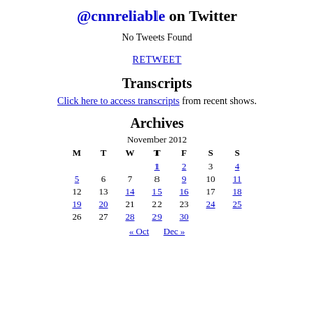@cnnreliable on Twitter
No Tweets Found
RETWEET
Transcripts
Click here to access transcripts from recent shows.
Archives
| M | T | W | T | F | S | S |
| --- | --- | --- | --- | --- | --- | --- |
|  |  |  | 1 | 2 | 3 | 4 |
| 5 | 6 | 7 | 8 | 9 | 10 | 11 |
| 12 | 13 | 14 | 15 | 16 | 17 | 18 |
| 19 | 20 | 21 | 22 | 23 | 24 | 25 |
| 26 | 27 | 28 | 29 | 30 |  |  |
« Oct   Dec »